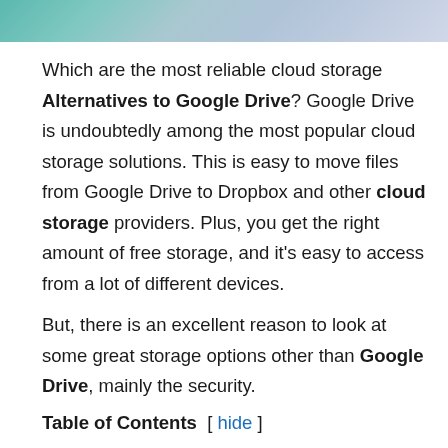[Figure (illustration): Banner image with teal/blue gradient background, partially showing a title text at the top]
Which are the most reliable cloud storage Alternatives to Google Drive? Google Drive is undoubtedly among the most popular cloud storage solutions. This is easy to move files from Google Drive to Dropbox and other cloud storage providers. Plus, you get the right amount of free storage, and it's easy to access from a lot of different devices.
But, there is an excellent reason to look at some great storage options other than Google Drive, mainly the security.
Table of Contents [ hide ]